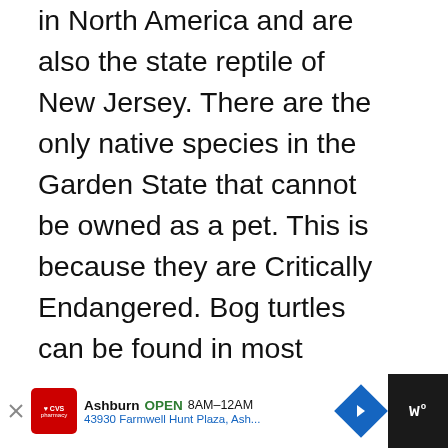in North America and are also the state reptile of New Jersey. There are the only native species in the Garden State that cannot be owned as a pet. This is because they are Critically Endangered. Bog turtles can be found in most areas of New Jersey, but mostly in wetland habitats such as bogs or swamps in northwestern and southwestern areas.
[Figure (other): Social interaction panel with heart/like button showing count of 19 and a share button]
[Figure (other): What's Next panel showing Turtle Identification article thumbnail with green circle logo reading DENTIFY A TURTLE]
[Figure (other): Advertisement bar for CVS Pharmacy in Ashburn, OPEN 8AM-12AM, 43930 Farmwell Hunt Plaza, Ash...]